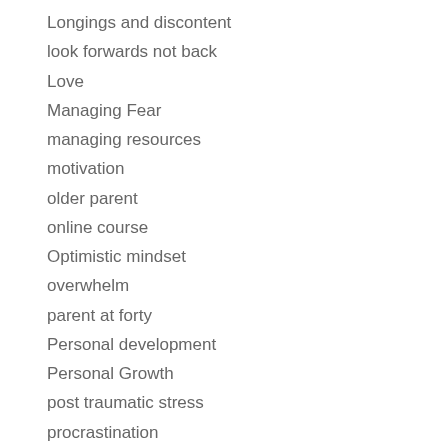Longings and discontent
look forwards not back
Love
Managing Fear
managing resources
motivation
older parent
online course
Optimistic mindset
overwhelm
parent at forty
Personal development
Personal Growth
post traumatic stress
procrastination